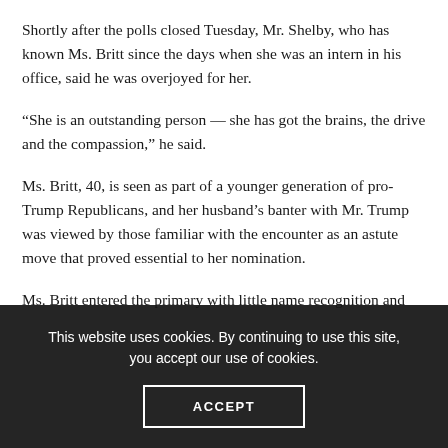Shortly after the polls closed Tuesday, Mr. Shelby, who has known Ms. Britt since the days when she was an intern in his office, said he was overjoyed for her.
“She is an outstanding person — she has got the brains, the drive and the compassion,” he said.
Ms. Britt, 40, is seen as part of a younger generation of pro-Trump Republicans, and her husband’s banter with Mr. Trump was viewed by those familiar with the encounter as an astute move that proved essential to her nomination.
Ms. Britt entered the primary with little name recognition and
This website uses cookies. By continuing to use this site, you accept our use of cookies.
ACCEPT